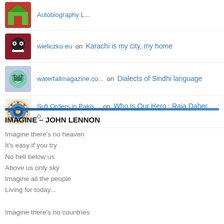Autobiography L... on [link]
wieliczko.eu on Karachi is my city, my home
waterfallmagazine.co... on Dialects of Sindhi language
Sufi Orders in Pakis... on Who Is Our Hero : Raja Daher o...
IMAGINE – JOHN LENNON
Imagine there's no heaven
It's easy if you try
No hell below us
Above us only sky
Imagine all the people
Living for today...

Imagine there's no countries